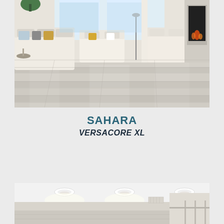[Figure (photo): Interior living room with light gray wood-look luxury vinyl plank flooring, white sofas, colorful pillows, and a stone fireplace in background]
SAHARA
VERSACORE XL
[Figure (photo): Interior hallway or basement space with recessed ceiling lights and light gray flooring, partial view]